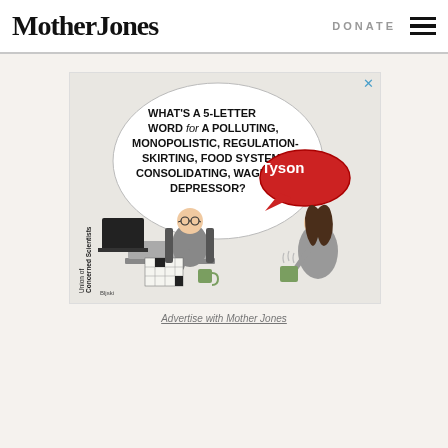Mother Jones | DONATE
[Figure (illustration): Political cartoon advertisement for Union of Concerned Scientists. Shows a man at a desk doing a crossword puzzle, looking up at a woman holding a coffee mug. A speech bubble from the man reads: WHAT'S A 5-LETTER WORD for A POLLUTING, MONOPOLISTIC, REGULATION-SKIRTING, FOOD SYSTEM CONSOLIDATING, WAGE DEPRESSOR? A red oval speech bubble near the woman reads: Tyson. Sidebar text reads: Union of Concerned Scientists. Artist signature: Bljski.]
Advertise with Mother Jones